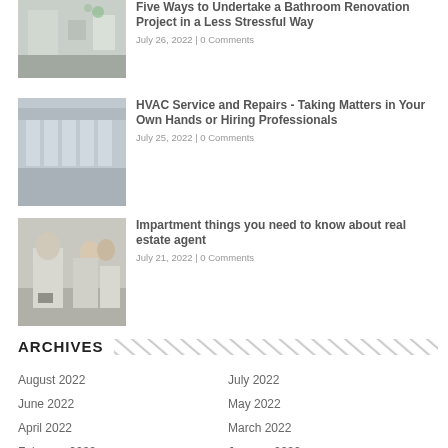[Figure (photo): Bathroom interior photo]
Five Ways to Undertake a Bathroom Renovation Project in a Less Stressful Way
July 26, 2022 | 0 Comments
[Figure (photo): HVAC units on exterior wall]
HVAC Service and Repairs - Taking Matters in Your Own Hands or Hiring Professionals
July 25, 2022 | 0 Comments
[Figure (photo): Real estate agent with clients outside building]
Impartment things you need to know about real estate agent
July 21, 2022 | 0 Comments
ARCHIVES
August 2022
July 2022
June 2022
May 2022
April 2022
March 2022
February 2022
January 2022